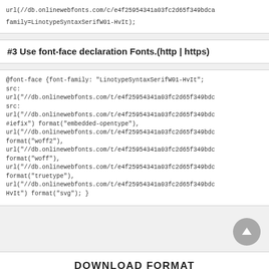url(//db.onlinewebfonts.com/c/e4f25954341a03fc2d65f349bdca...
family=LinotypeSyntaxSerifW01-HvIt);
#3 Use font-face declaration Fonts.(http | https)
@font-face {font-family: "LinotypeSyntaxSerifW01-HvIt";
src:
url("//db.onlinewebfonts.com/t/e4f25954341a03fc2d65f349bdc...
src:
url("//db.onlinewebfonts.com/t/e4f25954341a03fc2d65f349bdc...
#iefix") format("embedded-opentype"),
url("//db.onlinewebfonts.com/t/e4f25954341a03fc2d65f349bdc...
format("woff2"),
url("//db.onlinewebfonts.com/t/e4f25954341a03fc2d65f349bdc...
format("woff"),
url("//db.onlinewebfonts.com/t/e4f25954341a03fc2d65f349bdc...
format("truetype"),
url("//db.onlinewebfonts.com/t/e4f25954341a03fc2d65f349bdc...
HvIt") format("svg"); }
DOWNLOAD FORMAT